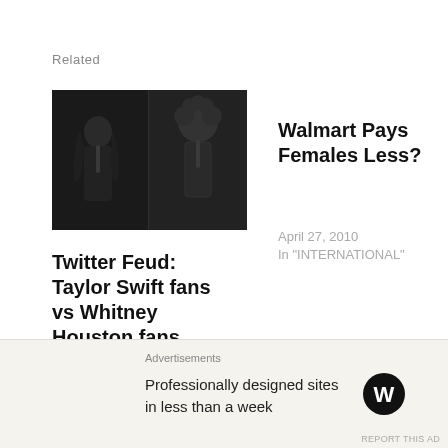Related
[Figure (photo): Two female singers performing on stage with microphones, dark background. Left half shows a woman with long hair in dark clothing; right half shows a woman with curly hair.]
Twitter Feud: Taylor Swift fans vs Whitney Houston fans
November 17, 2021
In "Entertainment"
Walmart Pays Females Less?
April 27, 2010
In "INTERNATIONAL"
Advertisements
Professionally designed sites in less than a week